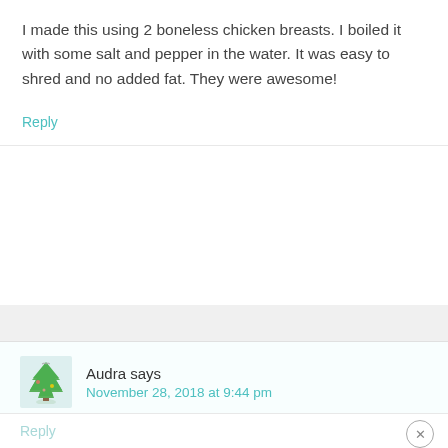I made this using 2 boneless chicken breasts. I boiled it with some salt and pepper in the water. It was easy to shred and no added fat. They were awesome!
Reply
Audra says
November 28, 2018 at 9:44 pm
We're foodie snobs and this was delicious! So easy to make and we gobbled it down. Thanks for sharing.
Reply